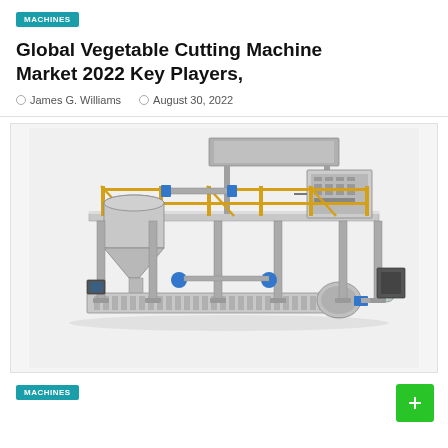MACHINES
Global Vegetable Cutting Machine Market 2022 Key Players,
James G. Williams   August 30, 2022
[Figure (photo): Large industrial vegetable cutting/processing machine with gray steel frame, yellow safety railings, hopper bins, conveyor system, control panel, and piping — shown on white background in 3/4 perspective view.]
Machines